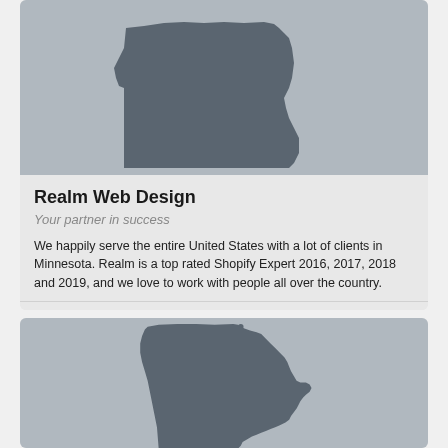[Figure (map): Partial map silhouette of a US state (appears to be northern portion), gray shape on gray background]
Realm Web Design
Your partner in success
We happily serve the entire United States with a lot of clients in Minnesota. Realm is a top rated Shopify Expert 2016, 2017, 2018 and 2019, and we love to work with people all over the country.
HAMEL, MN
+5
[Figure (map): Map silhouette of Minnesota state, gray shape on gray background, with a small dot marker near the top]